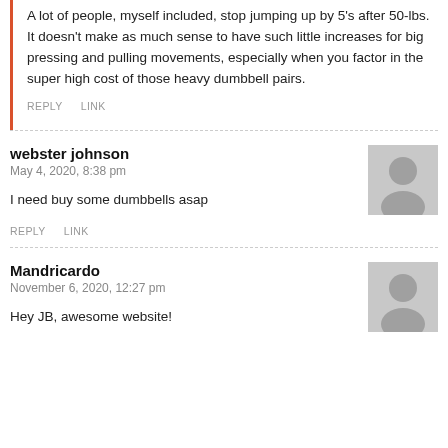A lot of people, myself included, stop jumping up by 5's after 50-lbs. It doesn't make as much sense to have such little increases for big pressing and pulling movements, especially when you factor in the super high cost of those heavy dumbbell pairs.
REPLY   LINK
webster johnson
May 4, 2020, 8:38 pm
I need buy some dumbbells asap
REPLY   LINK
Mandricardo
November 6, 2020, 12:27 pm
Hey JB, awesome website!